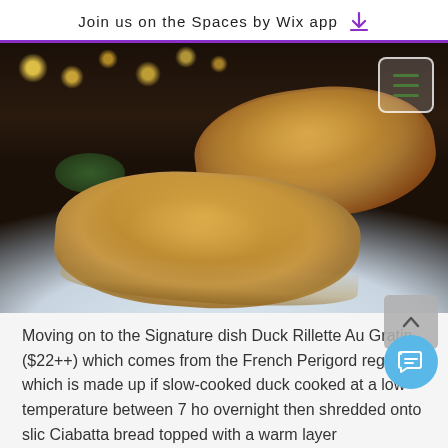Join us on the Spaces by Wix app
[Figure (photo): Food photo showing two slices of Duck Rillette Au Gratin on a white speckled plate, with melted cheese topping on toasted ciabatta bread, with bokeh lights in the background. A hamburger menu icon is shown in the top-right corner of the photo.]
Moving on to the Signature dish Duck Rillette Au Gratin ($22++) which comes from the French Perigord region which is made up if slow-cooked duck cooked at a low temperature between 7 ho overnight then shredded onto slic Ciabatta bread topped with a warm layer